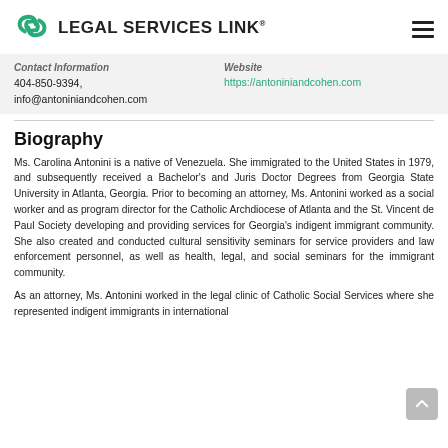LEGAL SERVICES LINK®
Contact Information
404-850-9394,
info@antoniniandcohen.com
Website
https://antoniniandcohen.com
Biography
Ms. Carolina Antonini is a native of Venezuela. She immigrated to the United States in 1979, and subsequently received a Bachelor's and Juris Doctor Degrees from Georgia State University in Atlanta, Georgia. Prior to becoming an attorney, Ms. Antonini worked as a social worker and as program director for the Catholic Archdiocese of Atlanta and the St. Vincent de Paul Society developing and providing services for Georgia's indigent immigrant community. She also created and conducted cultural sensitivity seminars for service providers and law enforcement personnel, as well as health, legal, and social seminars for the immigrant community.
As an attorney, Ms. Antonini worked in the legal clinic of Catholic Social Services where she represented indigent immigrants in international…